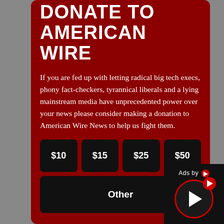DONATE TO AMERICAN WIRE
If you are fed up with letting radical big tech execs, phony fact-checkers, tyrannical liberals and a lying mainstream media have unprecedented power over your news please consider making a donation to American Wire News to help us fight them.
$10
$15
$25
$50
Other
[Figure (other): Ads by overlay with play button circle and red arrow]